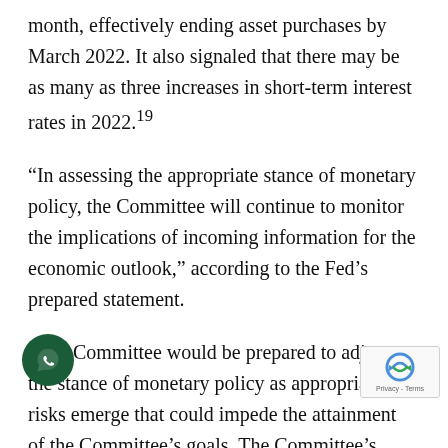month, effectively ending asset purchases by March 2022. It also signaled that there may be as many as three increases in short-term interest rates in 2022.19
“In assessing the appropriate stance of monetary policy, the Committee will continue to monitor the implications of incoming information for the economic outlook,” according to the Fed’s prepared statement.
“The Committee would be prepared to adjust the stance of monetary policy as appropriate if risks emerge that could impede the attainment of the Committee’s goals. The Committee’s assessments will take into account a wide range of information, including …gs on public health, labor market conditio… inf…ion pressures and inflation expectations, an…